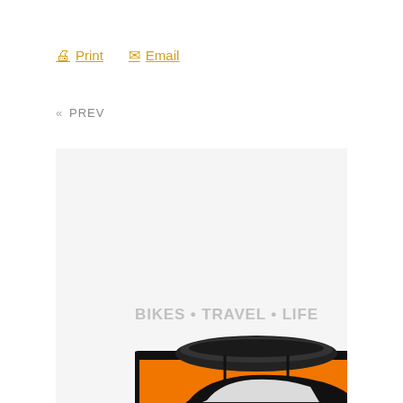🖨 Print   ✉ Email
« PREV
BIKES • TRAVEL • LIFE
[Figure (illustration): Vintage classic car (Buick style, circa 1950s) with a kayak strapped to the roof rack, rendered in black and white ink style on an orange background. The word NOMADIC appears in large black lettering at the bottom. The image appears to be a logo or poster for a brand called Nomadic.]